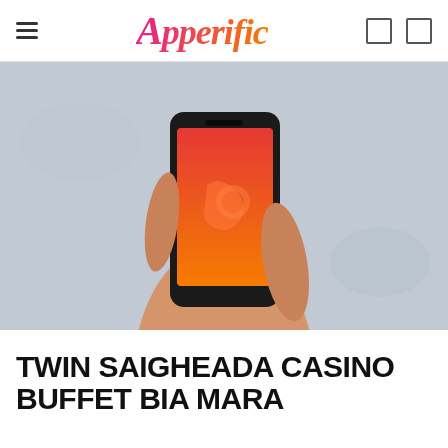Apperific
[Figure (photo): A hand holding a smartphone with a red and orange gradient screen showing a logo, against a light grey blurred background.]
TWIN SAIGHEADA CASINO BUFFET BIA MARA